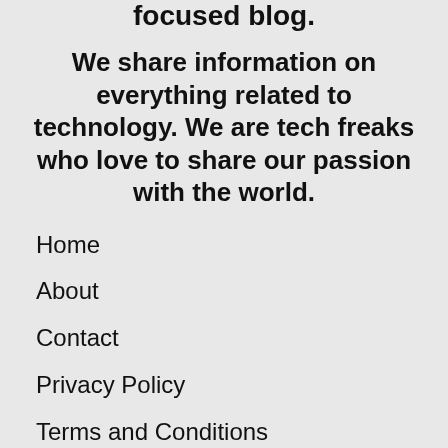focused blog.
We share information on everything related to technology. We are tech freaks who love to share our passion with the world.
Home
About
Contact
Privacy Policy
Terms and Conditions